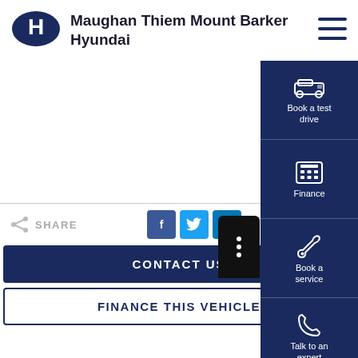[Figure (logo): Hyundai logo - blue oval with H letter]
Maughan Thiem Mount Barker Hyundai
[Figure (infographic): Hamburger menu icon (three horizontal lines)]
[Figure (infographic): Right sidebar with: Book a test drive (car icon), Finance (calculator icon), Book a service (wrench icon), Talk to an expert (phone icon), Locate Us (location pin icon), and down arrow]
SHARE
[Figure (infographic): Share icon, Facebook button, Twitter button, LinkedIn button]
[Figure (infographic): Black rounded rectangle button with three dots]
CONTACT US
FINANCE THIS VEHICLE